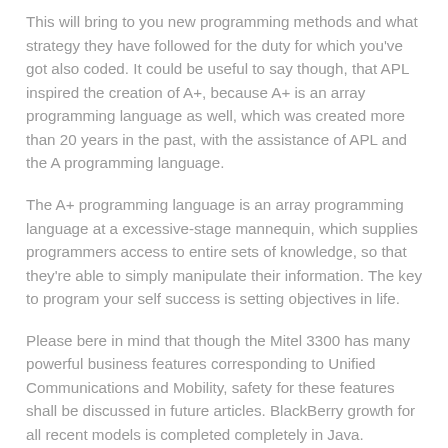This will bring to you new programming methods and what strategy they have followed for the duty for which you've got also coded. It could be useful to say though, that APL inspired the creation of A+, because A+ is an array programming language as well, which was created more than 20 years in the past, with the assistance of APL and the A programming language.
The A+ programming language is an array programming language at a excessive-stage mannequin, which supplies programmers access to entire sets of knowledge, so that they're able to simply manipulate their information. The key to program your self success is setting objectives in life.
Please bere in mind that though the Mitel 3300 has many powerful business features corresponding to Unified Communications and Mobility, safety for these features shall be discussed in future articles. BlackBerry growth for all recent models is completed completely in Java.
Class and Object, a very powerful options of Object Oriented Programming, as everyone knows, plays an important